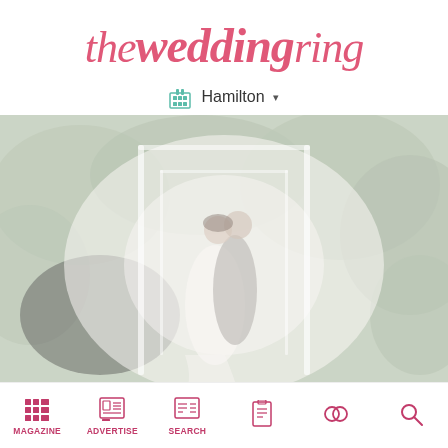theweddingring
Hamilton ▼
[Figure (photo): Faded/washed-out photo of a couple dancing or embracing in a garden archway covered in greenery, wearing wedding attire]
MAGAZINE | ADVERTISE | SEARCH | (icons for checklist, rings, search)